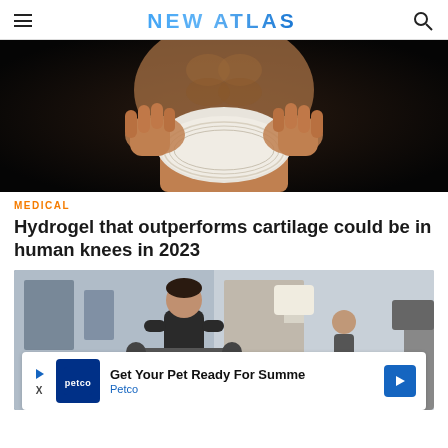NEW ATLAS
[Figure (photo): Close-up of a person applying white bandage wrap around a knee against a dark background]
MEDICAL
Hydrogel that outperforms cartilage could be in human knees in 2023
[Figure (photo): Man and woman working out in a gym setting with exercise equipment]
[Figure (other): Advertisement banner: Get Your Pet Ready For Summer - Petco]